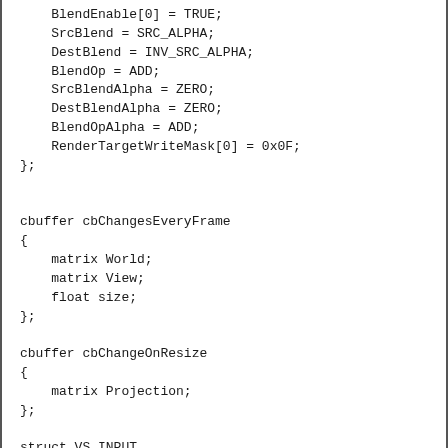BlendEnable[0] = TRUE;
    SrcBlend = SRC_ALPHA;
    DestBlend = INV_SRC_ALPHA;
    BlendOp = ADD;
    SrcBlendAlpha = ZERO;
    DestBlendAlpha = ZERO;
    BlendOpAlpha = ADD;
    RenderTargetWriteMask[0] = 0x0F;
};


cbuffer cbChangesEveryFrame
{
    matrix World;
    matrix View;
    float size;
};

cbuffer cbChangeOnResize
{
    matrix Projection;
};

struct VS_INPUT
{
    float4 Pos : POSITION;
};

struct GS_INPUT
{